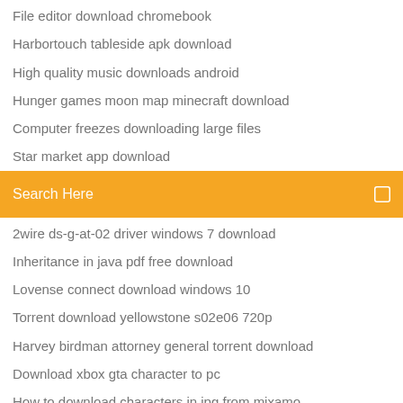File editor download chromebook
Harbortouch tableside apk download
High quality music downloads android
Hunger games moon map minecraft download
Computer freezes downloading large files
Star market app download
[Figure (screenshot): Search bar with orange/amber background and 'Search Here' placeholder text with a search icon on the right]
2wire ds-g-at-02 driver windows 7 download
Inheritance in java pdf free download
Lovense connect download windows 10
Torrent download yellowstone s02e06 720p
Harvey birdman attorney general torrent download
Download xbox gta character to pc
How to download characters in jpg from mixamo
Play craps torrent download
How to speed torrent download speed
How to download minecraft java for free
Music downloader for pc